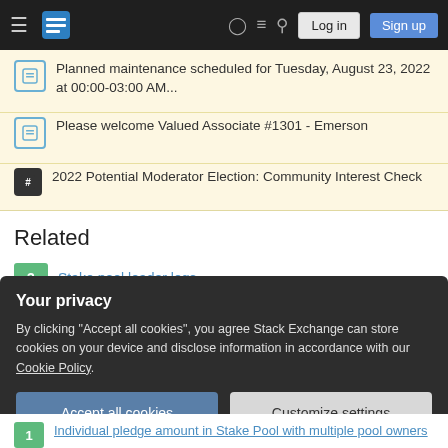Stack Exchange navigation bar with Log in and Sign up buttons
Planned maintenance scheduled for Tuesday, August 23, 2022 at 00:00-03:00 AM...
Please welcome Valued Associate #1301 - Emerson
2022 Potential Moderator Election: Community Interest Check
Related
3 Stake pool leader logs
9 Hardware requirments for running a stake pool?
Your privacy
By clicking "Accept all cookies", you agree Stack Exchange can store cookies on your device and disclose information in accordance with our Cookie Policy.
1 Individual pledge amount in Stake Pool with multiple pool owners